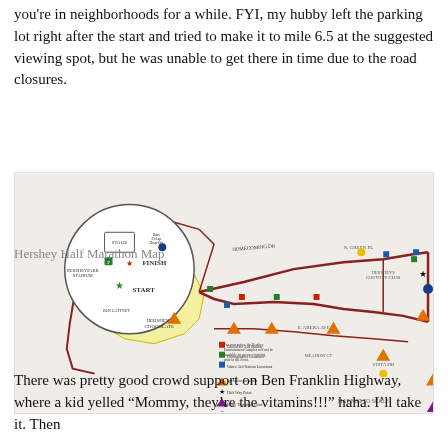you're in neighborhoods for a while. FYI, my hubby left the parking lot right after the start and tried to make it to mile 6.5 at the suggested viewing spot, but he was unable to get there in time due to the road closures.
[Figure (map): Hershey Half Marathon course map showing route, start/finish at Hersheypark Stadium, chocolate aid stations, photographer locations, water/aid stations, spectator locations, half-way point, relay transition point, relay pick-up/drop-off points, and note 'MAP NOT TO SCALE'.]
Hershey Half Marathon Map
There was pretty good crowd support on Ben Franklin Highway, where a kid yelled “Mommy, they’re the vitamins!!!”  haha.  I’ll take it.  Then